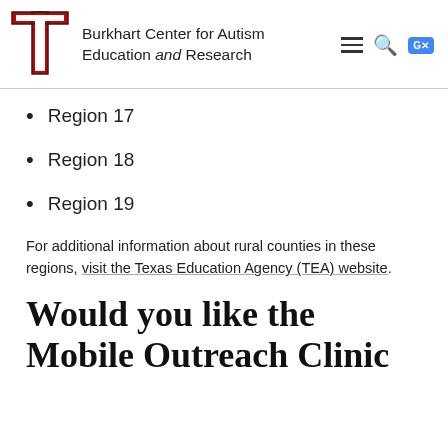Burkhart Center for Autism Education and Research
Region 17
Region 18
Region 19
For additional information about rural counties in these regions, visit the Texas Education Agency (TEA) website.
Would you like the Mobile Outreach Clinic